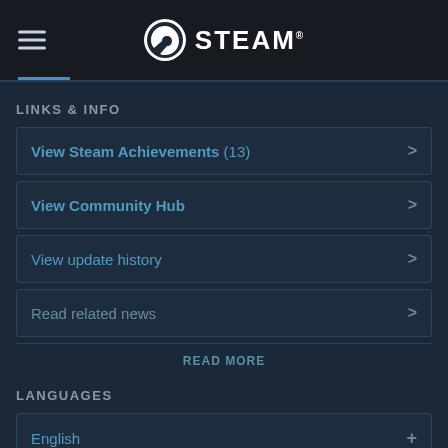STEAM
LINKS & INFO
View Steam Achievements (13)
View Community Hub
View update history
Read related news
READ MORE
LANGUAGES
English